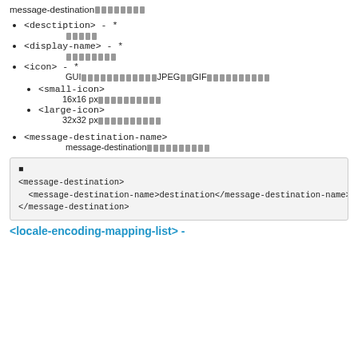message-destination■■■■■■■■
<desctiption> - * ■■■■■
<display-name> - * ■■■■■■■■
<icon> - * GUI■■■■■■■■■■■■JPEG■■GIF■■■■■■■■■■
<small-icon> 16x16 px■■■■■■■■■■
<large-icon> 32x32 px■■■■■■■■■■
<message-destination-name> message-destination■■■■■■■■■■
■
<message-destination>
  <message-destination-name>destination</message-destination-name>
</message-destination>
<locale-encoding-mapping-list> -?